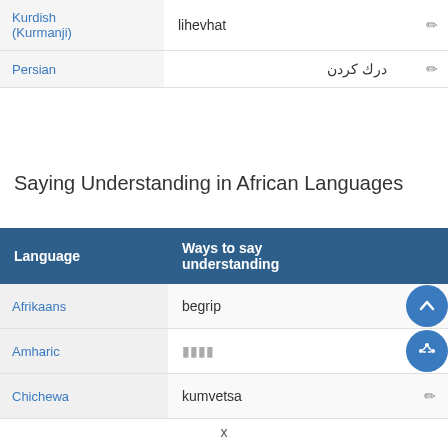| Language | Ways to say understanding |  |
| --- | --- | --- |
| Kurdish (Kurmanji) | lihevhat | ✏ |
| Persian | درك كردن | ✏ |
Saying Understanding in African Languages
| Language | Ways to say understanding |
| --- | --- |
| Afrikaans | begrip |
| Amharic | ʕʕʕʕ |
| Chichewa | kumvetsa |
x